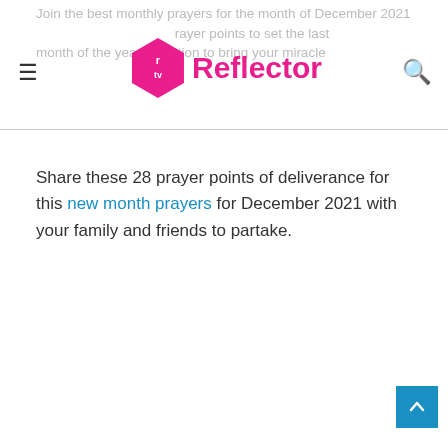Join the best monthly prayers for the month of December 2021 … prayer points to set the last month of the year in motion to bring your miracle
[Figure (logo): RTV Reflector logo — hexagon badge with 'r tv' text in white on magenta background, beside bold magenta text 'Reflector']
Share these 28 prayer points of deliverance for this new month prayers for December 2021 with your family and friends to partake.